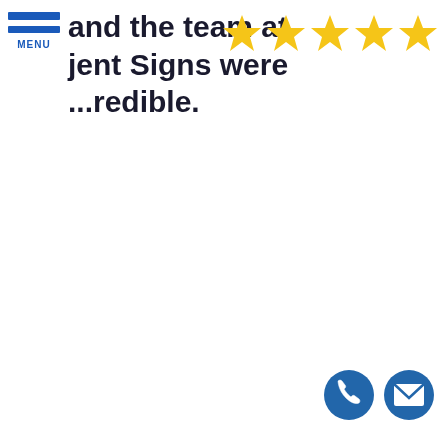[Figure (logo): Hamburger menu icon with two blue horizontal lines and MENU text in blue]
and the team at
jent Signs were
...redible.
[Figure (infographic): Five yellow star rating icons in a row]
[Figure (infographic): Two circular blue contact icons: a phone icon and a mail/envelope icon]